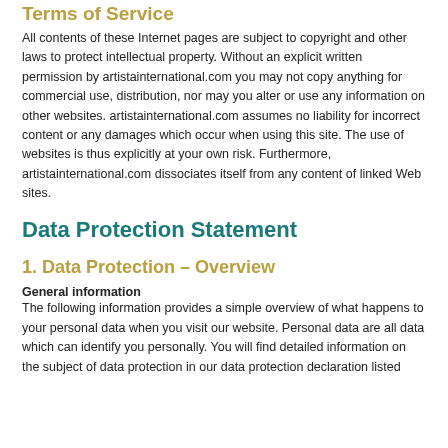Terms of Service
All contents of these Internet pages are subject to copyright and other laws to protect intellectual property. Without an explicit written permission by artistainternational.com you may not copy anything for commercial use, distribution, nor may you alter or use any information on other websites. artistainternational.com assumes no liability for incorrect content or any damages which occur when using this site. The use of websites is thus explicitly at your own risk. Furthermore, artistainternational.com dissociates itself from any content of linked Web sites.
Data Protection Statement
1. Data Protection – Overview
General information
The following information provides a simple overview of what happens to your personal data when you visit our website. Personal data are all data which can identify you personally. You will find detailed information on the subject of data protection in our data protection declaration listed